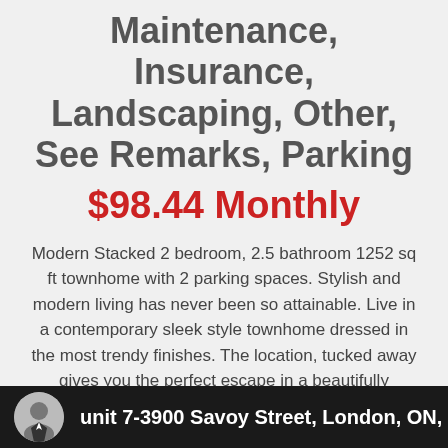Maintenance, Insurance, Landscaping, Other, See Remarks, Parking
$98.44 Monthly
Modern Stacked 2 bedroom, 2.5 bathroom 1252 sq ft townhome with 2 parking spaces. Stylish and modern living has never been so attainable. Live in a contemporary sleek style townhome dressed in the most trendy finishes. The location, tucked away gives you the perfect escape in a beautifully designed community with a harmonious streetscape. This is an assignment Sale. Closing is projected for August 1 2022. (id:20429)
unit 7-3900 Savoy Street, London, ON, N6P 0A3